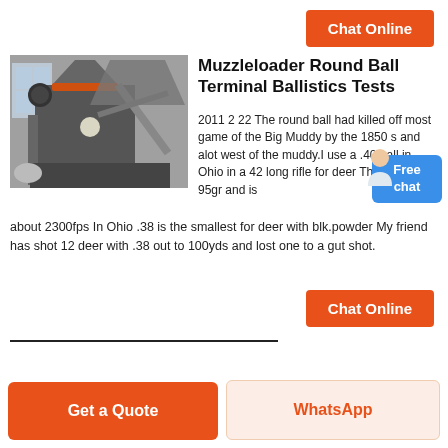[Figure (other): Orange 'Chat Online' button at top right]
[Figure (photo): Industrial ball mill or grinding machine in a factory setting, gray metallic equipment with large cylindrical body, industrial building interior with windows]
Muzzleloader Round Ball Terminal Ballistics Tests
2011 2 22 The round ball had killed off most game of the Big Muddy by the 1850 s and alot west of the muddy.I use a .40 ball in Ohio in a 42 long rifle for deer The ball is 95gr and is about 2300fps In Ohio .38 is the smallest for deer with blk.powder My friend has shot 12 deer with .38 out to 100yds and lost one to a gut shot.
[Figure (other): Orange 'Chat Online' button at bottom right]
[Figure (other): Orange 'Get a Quote' button at bottom left]
[Figure (other): Light orange 'WhatsApp' button at bottom right]